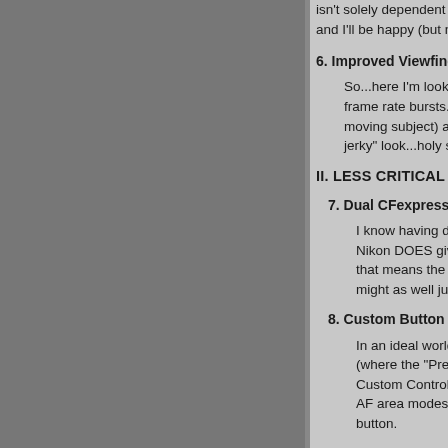isn't solely dependent on buffer size - it's also d and I'll be happy (but note I'd want more than th
6. Improved Viewfinder Behavior During High R
So...here I'm looking for a reduction in black ou frame rate bursts. When shooting a Z7 in Conti moving subject) and when shooting a Z7 in Con jerky" look...holy smokes!).
II. LESS CRITICAL IMPROVEMENTS:
7. Dual CFexpress/XQD Card Slots:
I know having dual card slots is a "must feature Nikon DOES give us two slots I'd prefer them to that means the camera has to be slightly larger. might as well just have one slot.
8. Custom Button Options:
In an ideal world I'd like to see at least one mor (where the "Preview" button is found on Nikon's Custom Controls menu item) allow you to prog AF area modes. And, if Nikon does this, I think button.
And, while I'm at it, another option I'd LOVE to s on the Nikon D6. I simply LOVE this function.
9. DoF Viewfinder Display?